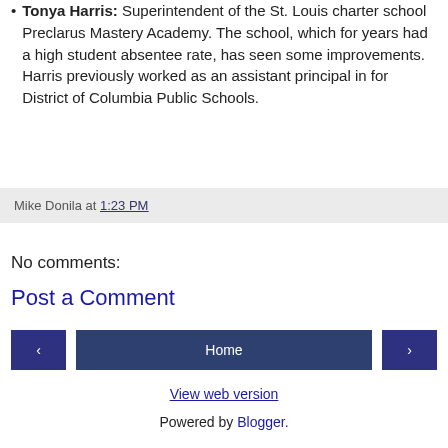Tonya Harris: Superintendent of the St. Louis charter school Preclarus Mastery Academy. The school, which for years had a high student absentee rate, has seen some improvements. Harris previously worked as an assistant principal in for District of Columbia Public Schools.
Mike Donila at 1:23 PM
No comments:
Post a Comment
‹  Home  ›
View web version
Powered by Blogger.